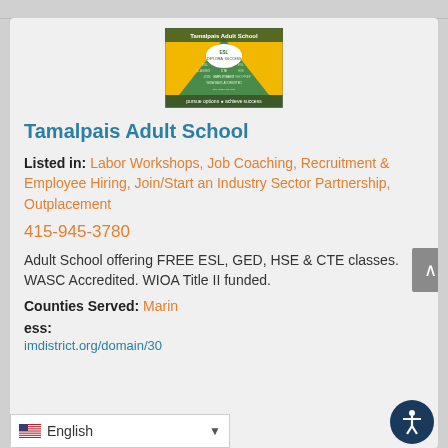[Figure (logo): Tamalpais Adult School logo — green mountain with word cloud, yellow background, tagline 'pursue options achieve success']
Tamalpais Adult School
Listed in: Labor Workshops, Job Coaching, Recruitment & Employee Hiring, Join/Start an Industry Sector Partnership, Outplacement
415-945-3780
Adult School offering FREE ESL, GED, HSE & CTE classes. WASC Accredited. WIOA Title II funded.
Counties Served: Marin
ess:
imdistrict.org/domain/30